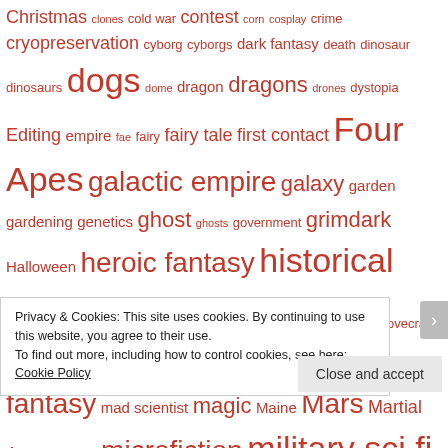[Figure (other): Tag cloud of fiction/genre tags in varying font sizes, all in orange-red color. Tags include: Christmas, clones, cold war, contest, corn, cosplay, crime, cryopreservation, cyborg, cyborgs, dark fantasy, death, dinosaur, dinosaurs, dogs, dome, dragon, dragons, drones, dystopia, Editing, empire, fae, fairy, fairy tale, first contact, Four Apes, galactic empire, galaxy, garden, gardening, genetics, ghost, ghosts, government, grimdark, Halloween, heroic fantasy, historical fantasy, hit man, Holidays, horror, HP Lovecraft, humor, indian corn, james bond, Japan, kung-fu, lobster, low fantasy, mad scientist, magic, Maine, Mars, Martial Arts, memory, microfiction, military sci fi, monster, monsters, murder, novella, nuclear weapon, ocean, parallel dimension, peace, pirates, plague, podcast, police, post-apocalyptic, prison, private eye, psychic, publishing, pulp, puppy, ratpocalypse]
Privacy & Cookies: This site uses cookies. By continuing to use this website, you agree to their use. To find out more, including how to control cookies, see here: Cookie Policy
Close and accept